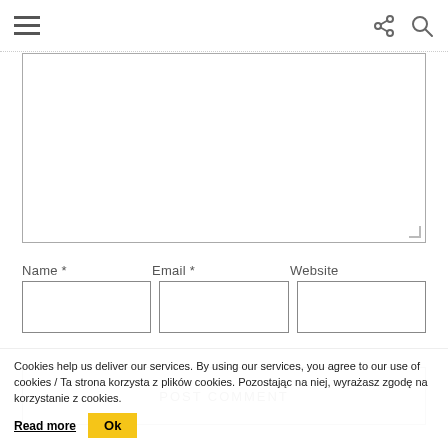Navigation menu, share, and search icons
[Figure (screenshot): Comment textarea input box, partially visible, with resize handle in bottom-right corner]
Name *
Email *
Website
[Figure (screenshot): Three text input fields for Name, Email, and Website]
[Figure (screenshot): POST COMMENT submit button with border]
Cookies help us deliver our services. By using our services, you agree to our use of cookies / Ta strona korzysta z plików cookies. Pozostając na niej, wyrażasz zgodę na korzystanie z cookies. Read more Ok